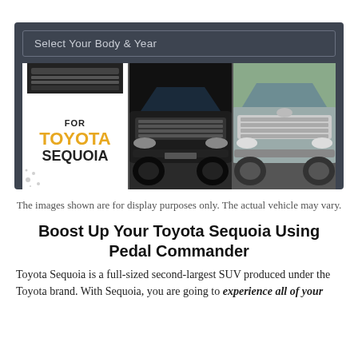[Figure (screenshot): Dark UI panel with 'Select Your Body & Year' dropdown and a three-panel image strip showing Toyota Sequoia vehicles with 'FOR TOYOTA SEQUOIA' branding text]
The images shown are for display purposes only. The actual vehicle may vary.
Boost Up Your Toyota Sequoia Using Pedal Commander
Toyota Sequoia is a full-sized second-largest SUV produced under the Toyota brand. With Sequoia, you are going to experience all of your